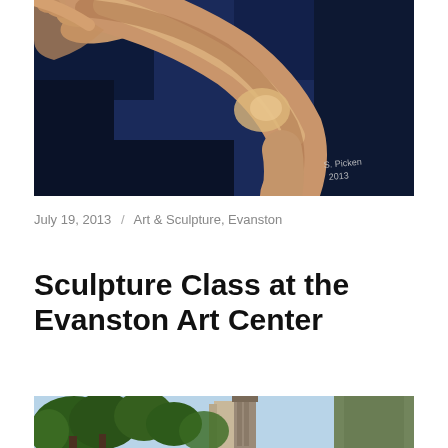[Figure (illustration): Painting of a human figure with warm skin tones (beige/orange legs and torso visible) against a dark navy blue background. A signature reads 'S. Picken 2013' in the lower right corner.]
July 19, 2013 / Art & Sculpture, Evanston
Sculpture Class at the Evanston Art Center
[Figure (photo): Outdoor photo showing trees and a tall brick tower or building partially visible, with another building with vine-covered wall on the right. Appears to be a city/campus scene with green foliage.]